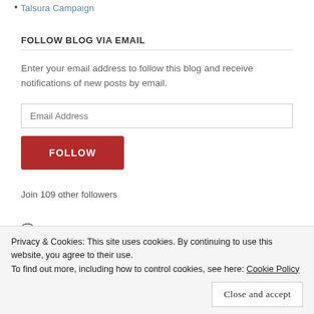Talsura Campaign
FOLLOW BLOG VIA EMAIL
Enter your email address to follow this blog and receive notifications of new posts by email.
Email Address
FOLLOW
Join 109 other followers
RECENT COMMENTS
Privacy & Cookies: This site uses cookies. By continuing to use this website, you agree to their use.
To find out more, including how to control cookies, see here: Cookie Policy
Close and accept